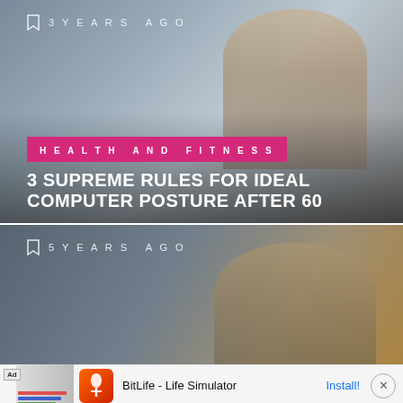[Figure (screenshot): Blog article card with photo of older woman smiling at desk, dark overlay, pink Health and Fitness badge, and article title]
3 YEARS AGO
HEALTH AND FITNESS
3 SUPREME RULES FOR IDEAL COMPUTER POSTURE AFTER 60
[Figure (screenshot): Blog article card with photo of smiling blonde woman on phone, dark overlay, showing 5 years ago timestamp]
5 YEARS AGO
Ad  BitLife - Life Simulator  Install!